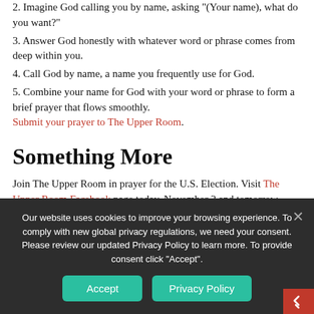2. Imagine God calling you by name, asking '(Your name), what do you want?'
3. Answer God honestly with whatever word or phrase comes from deep within you.
4. Call God by name, a name you frequently use for God.
5. Combine your name for God with your word or phrase to form a brief prayer that flows smoothly. Submit your prayer to The Upper Room.
Something More
Join The Upper Room in prayer for the U.S. Election. Visit The Upper Room Facebook page today, November 2 and tomorrow, November 3 at 11 a.m. (CST) for guided prayer. Regardless of any divisions we have over perspective or politics, let us join together and pray. Save the date, and save the link:
Our website uses cookies to improve your browsing experience. To comply with new global privacy regulations, we need your consent. Please review our updated Privacy Policy to learn more. To provide consent click "Accept".